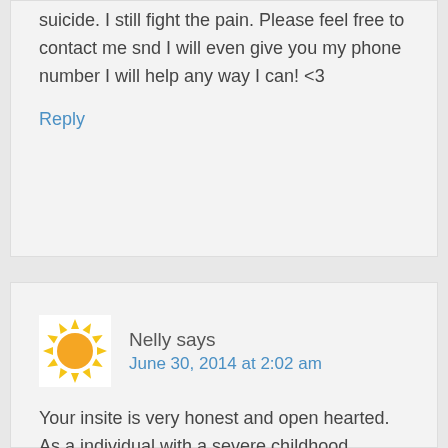suicide. I still fight the pain. Please feel free to contact me snd I will even give you my phone number I will help any way I can! <3
Reply
[Figure (illustration): Sun emoji avatar icon — yellow circle with radiating triangular rays]
Nelly says
June 30, 2014 at 2:02 am
Your insite is very honest and open hearted. As a individual with a severe childhood trauma that no child should ever have to face and going through my life